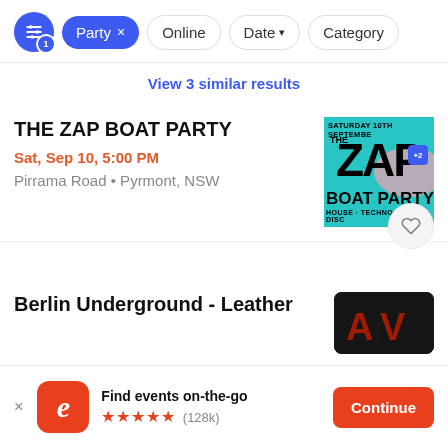Filter bar with: settings icon (1), Party x, Online, Date, Category
View 3 similar results
THE ZAP BOAT PARTY
Sat, Sep 10, 5:00 PM
Pirrama Road • Pyrmont, NSW
[Figure (illustration): Event poster for The Zap Boat Party on Saturday 10th September, teal background with large ZAP text, BOAT PARTY text, House·Techno·UKG·Disc genres]
Berlin Underground - Leather
[Figure (photo): Dark event photo with red/orange AV letters visible]
Find events on-the-go
★★★★★ (128k)
Continue